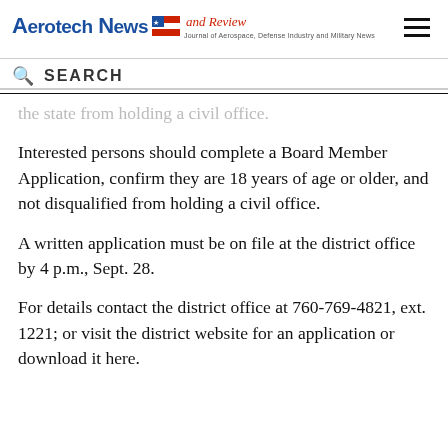Aerotech News and Review
the state from holding a civil office.
Interested persons should complete a Board Member Application, confirm they are 18 years of age or older, and not disqualified from holding a civil office.
A written application must be on file at the district office by 4 p.m., Sept. 28.
For details contact the district office at 760-769-4821, ext. 1221; or visit the district website for an application or download it here.